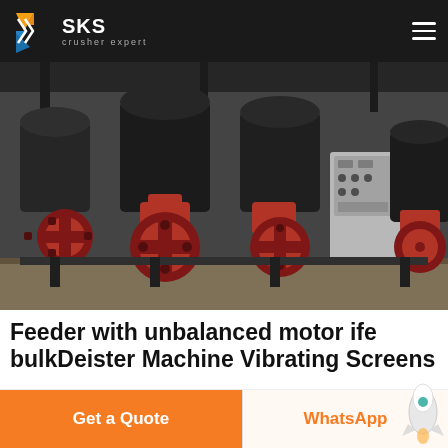SKS crusher expert
[Figure (photo): Industrial machines — multiple large cone crushers with red flywheels and a grey electrical control cabinet in a factory/warehouse setting.]
Feeder with unbalanced motor ife bulkDeister Machine Vibrating Screens
IFE vibrating feeders with unbalanced drive are used to
Get a Quote
WhatsApp